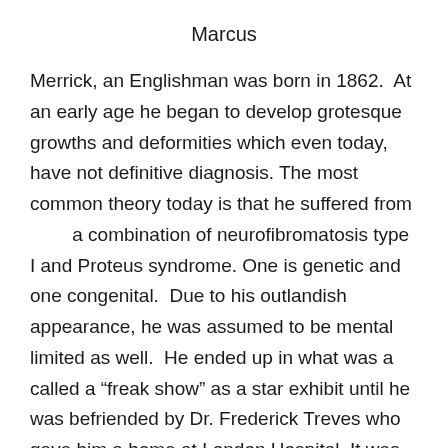Marcus
Merrick, an Englishman was born in 1862.  At an early age he began to develop grotesque growths and deformities which even today,  have not definitive diagnosis. The most common theory today is that he suffered from        a combination of neurofibromatosis type I and Proteus syndrome. One is genetic and one congenital.  Due to his outlandish appearance, he was assumed to be mental limited as well.  He ended up in what was a called a “freak show” as a star exhibit until he was befriended by Dr. Frederick Treves who gave him a home at London Hospital. It was there that Treves discovered that Merrick had a fine intelligence.
In his remaining years, (he died in 1890), Merrick enjoyed